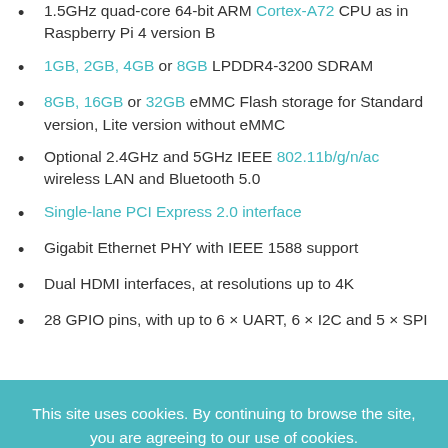1.5GHz quad-core 64-bit ARM Cortex-A72 CPU as in Raspberry Pi 4 version B
1GB, 2GB, 4GB or 8GB LPDDR4-3200 SDRAM
8GB, 16GB or 32GB eMMC Flash storage for Standard version, Lite version without eMMC
Optional 2.4GHz and 5GHz IEEE 802.11b/g/n/ac wireless LAN and Bluetooth 5.0
Single-lane PCI Express 2.0 interface
Gigabit Ethernet PHY with IEEE 1588 support
Dual HDMI interfaces, at resolutions up to 4K
28 GPIO pins, with up to 6 × UART, 6 × I2C and 5 × SPI
This site uses cookies. By continuing to browse the site, you are agreeing to our use of cookies.
tags: Broadcom BCM2711, Broadcom BCM2837, CM3, CM4, compute module 3, Compute Module 4, Cortex-A53, Cortex-A72,